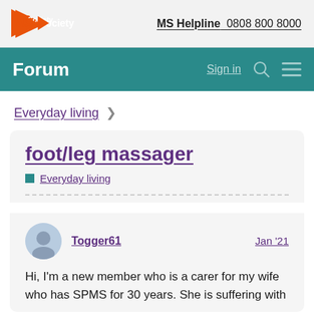[Figure (logo): MS Society logo with orange triangle and text]
MS Helpline  0808 800 8000
Forum
Sign in
Everyday living >
foot/leg massager
Everyday living
Togger61
Jan '21
Hi, I'm a new member who is a carer for my wife who has SPMS for 30 years. She is suffering with